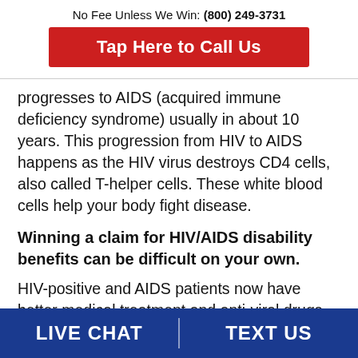No Fee Unless We Win: (800) 249-3731
Tap Here to Call Us
progresses to AIDS (acquired immune deficiency syndrome) usually in about 10 years. This progression from HIV to AIDS happens as the HIV virus destroys CD4 cells, also called T-helper cells. These white blood cells help your body fight disease.
Winning a claim for HIV/AIDS disability benefits can be difficult on your own.
HIV-positive and AIDS patients now have better medical treatment and anti-viral drugs
LIVE CHAT | TEXT US